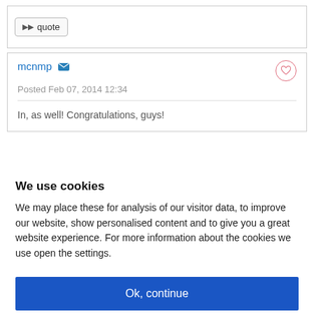▶▶ quote
mcnmp
Posted Feb 07, 2014 12:34
In, as well! Congratulations, guys!
We use cookies
We may place these for analysis of our visitor data, to improve our website, show personalised content and to give you a great website experience. For more information about the cookies we use open the settings.
Ok, continue
Deny
No, adjust